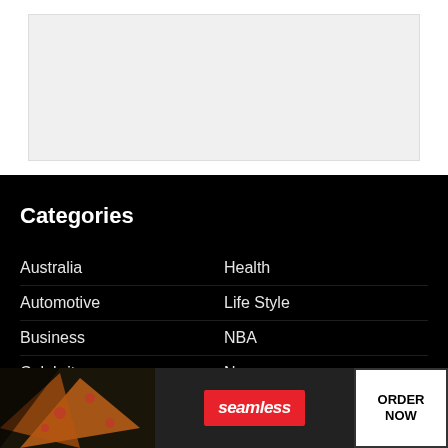[Figure (other): Empty grey advertisement placeholder box at top of page]
Categories
Australia
Automotive
Business
Celebrity
Crypto
Deals
Health
Life Style
NBA
News
[Figure (other): Seamless food delivery advertisement banner with pizza image, seamless logo, and ORDER NOW button. Has a CLOSE button overlay.]